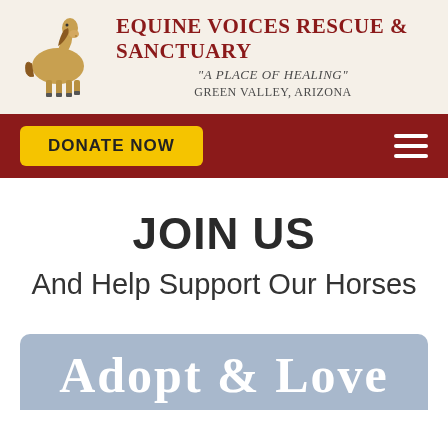[Figure (logo): Equine Voices Rescue & Sanctuary header with horse illustration logo and organization name, tagline, and location]
[Figure (screenshot): Dark red navigation bar with yellow DONATE NOW button on left and hamburger menu icon on right]
JOIN US
And Help Support Our Horses
[Figure (illustration): Blue-gray rounded banner with text ADOPT & LOVE in white serif font]